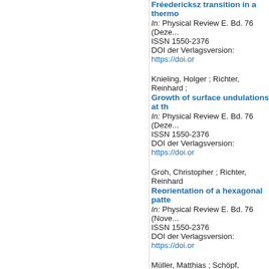Fréedericksz transition in a thermo...
In: Physical Review E. Bd. 76 (Deze...
ISSN 1550-2376
DOI der Verlagsversion: https://doi.or...
Knieling, Holger ; Richter, Reinhard ;...
Growth of surface undulations at th...
In: Physical Review E. Bd. 76 (Deze...
ISSN 1550-2376
DOI der Verlagsversion: https://doi.or...
Groh, Christopher ; Richter, Reinhard...
Reorientation of a hexagonal patte...
In: Physical Review E. Bd. 76 (Nove...
ISSN 1550-2376
DOI der Verlagsversion: https://doi.or...
Müller, Matthias ; Schöpf, Wolfgang ;...
Experimental observation of a non-...
In: Physical Review E. Bd. 76 (Oktob...
ISSN 1550-2376
DOI der Verlagsversion: https://doi.or...
Götzendorfer, Andreas ; Kruelle, Chri...
Localized Subharmonic Waves in a...
In: Physical Review Letters. Bd. 97 (N...
ISSN 1079-7114
DOI der Verlagsversion: https://doi.or...